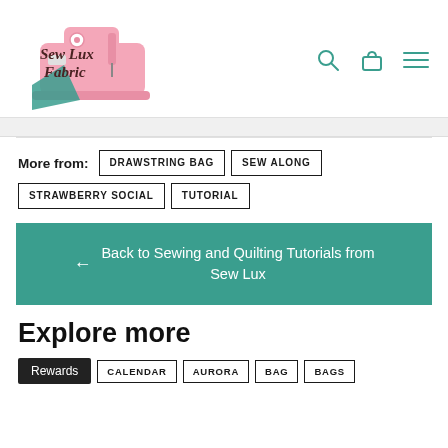[Figure (logo): Sew Lux Fabric logo — pink sewing machine with teal fabric, handwritten text 'Sew Lux Fabric']
More from: DRAWSTRING BAG  SEW ALONG  STRAWBERRY SOCIAL  TUTORIAL
← Back to Sewing and Quilting Tutorials from Sew Lux
Explore more
CALENDAR
AURORA
BAG
BAGS